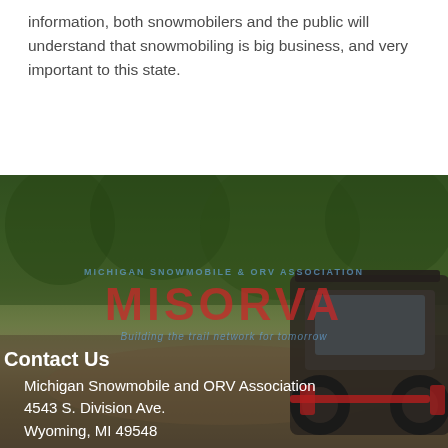information, both snowmobilers and the public will understand that snowmobiling is big business, and very important to this state.
[Figure (photo): Outdoor photo showing trees and green vegetation in the background with a UTV/off-road vehicle visible on the right side. Overlaid with the MISORVA logo watermark in red and a circular blue text ring reading 'MICHIGAN SNOWMOBILE & ORV ASSOCIATION' with tagline text below.]
Contact Us
Michigan Snowmobile and ORV Association
4543 S. Division Ave.
Wyoming, MI 49548